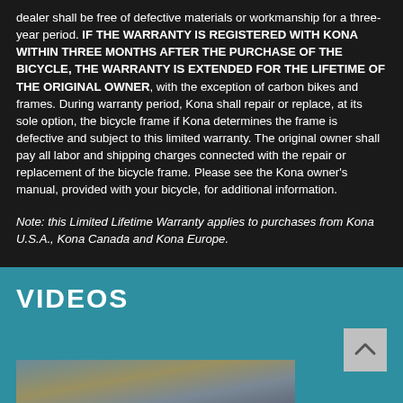dealer shall be free of defective materials or workmanship for a three-year period. IF THE WARRANTY IS REGISTERED WITH KONA WITHIN THREE MONTHS AFTER THE PURCHASE OF THE BICYCLE, THE WARRANTY IS EXTENDED FOR THE LIFETIME OF THE ORIGINAL OWNER, with the exception of carbon bikes and frames. During warranty period, Kona shall repair or replace, at its sole option, the bicycle frame if Kona determines the frame is defective and subject to this limited warranty. The original owner shall pay all labor and shipping charges connected with the repair or replacement of the bicycle frame. Please see the Kona owner's manual, provided with your bicycle, for additional information.
Note: this Limited Lifetime Warranty applies to purchases from Kona U.S.A., Kona Canada and Kona Europe.
VIDEOS
[Figure (photo): A video thumbnail showing a sky with clouds at sunset/dusk]